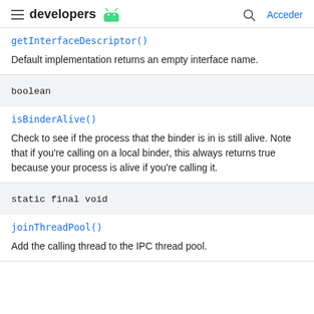developers | Acceder
getInterfaceDescriptor()
Default implementation returns an empty interface name.
boolean
isBinderAlive()
Check to see if the process that the binder is in is still alive. Note that if you're calling on a local binder, this always returns true because your process is alive if you're calling it.
static final void
joinThreadPool()
Add the calling thread to the IPC thread pool.